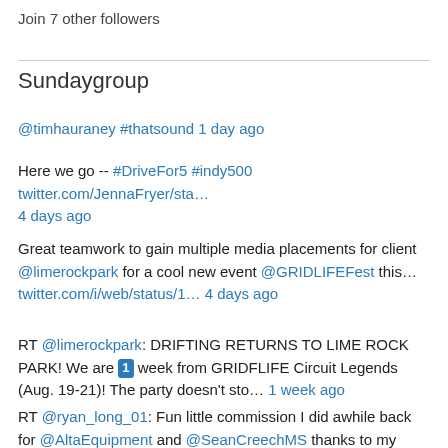Join 7 other followers
Sundaygroup
@timhauraney #thatsound 1 day ago
Here we go -- #DriveFor5 #indy500 twitter.com/JennaFryer/sta… 4 days ago
Great teamwork to gain multiple media placements for client @limerockpark for a cool new event @GRIDLIFEFest this… twitter.com/i/web/status/1… 4 days ago
RT @limerockpark: DRIFTING RETURNS TO LIME ROCK PARK! We are 1 week from GRIDFLIFE Circuit Legends (Aug. 19-21)! The party doesn't sto… 1 week ago
RT @ryan_long_01: Fun little commission I did awhile back for @AltaEquipment and @SeanCreechMS thanks to my longtime client